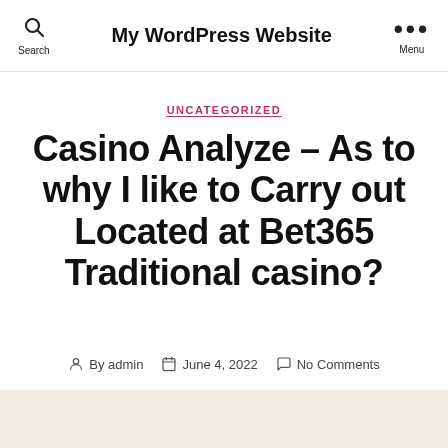My WordPress Website
UNCATEGORIZED
Casino Analyze – As to why I like to Carry out Located at Bet365 Traditional casino?
By admin   June 4, 2022   No Comments